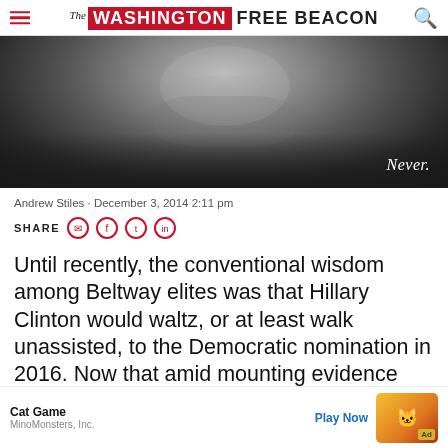The Washington Free Beacon
[Figure (photo): Black and white close-up portrait photo of a person's face, lower half visible with mustache/beard, dark background. Text overlay reads 'Never.' in italic white font at lower right.]
Andrew Stiles · December 3, 2014 2:11 pm
SHARE [social icons]
Until recently, the conventional wisdom among Beltway elites was that Hillary Clinton would waltz, or at least walk unassisted, to the Democratic nomination in 2016. Now that [ad overlay] amid mounting evidence that Hillary's most recent quest for power has already failed.